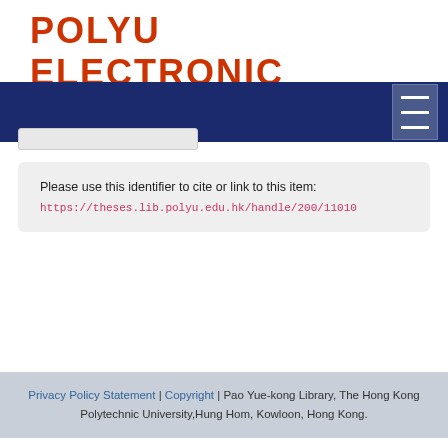POLYU ELECTRONIC THESES
Please use this identifier to cite or link to this item:
https://theses.lib.polyu.edu.hk/handle/200/11010
Privacy Policy Statement | Copyright | Pao Yue-kong Library, The Hong Kong Polytechnic University,Hung Hom, Kowloon, Hong Kong.